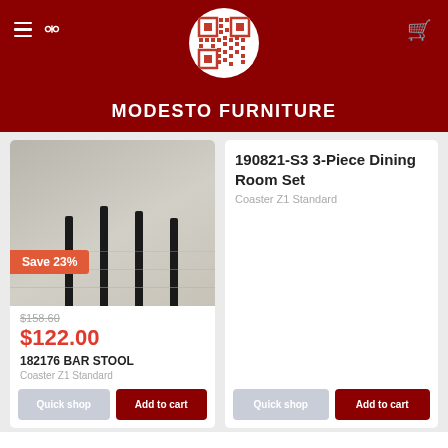MODESTO FURNITURE
190821-S3 3-Piece Dining Room Set
Coaster Z1 Standard
[Figure (photo): Photo of a bar stool with black legs on a gray hardwood floor. A red badge reads 'Save 23%'.]
$158.60
$122.00
182176 BAR STOOL
Coaster Z1 Standard
Quick shop
Add to cart
Quick shop
Add to cart